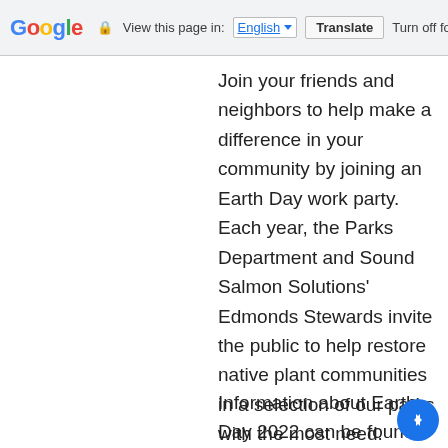Google | View this page in: English [▼] | Translate | Turn off for: La
Join your friends and neighbors to help make a difference in your community by joining an Earth Day work party. Each year, the Parks Department and Sound Salmon Solutions' Edmonds Stewards invite the public to help restore native plant communities in a selection of our parks with the most need.
Information about Earth Day 2022 can be found o...